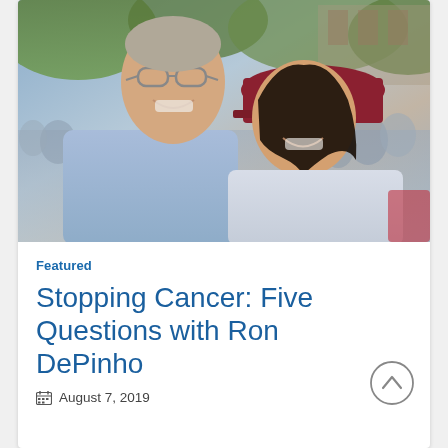[Figure (photo): Two people smiling outdoors: an older man in a light blue button-up shirt and glasses on the left, and a young woman wearing a dark red cap with letter F and a light gray shirt on the right. Green trees and a crowd visible in the background.]
Featured
Stopping Cancer: Five Questions with Ron DePinho
August 7, 2019